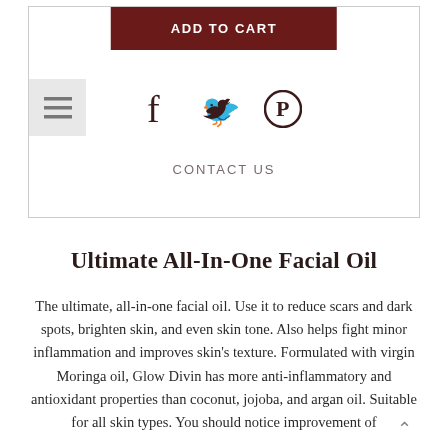ADD TO CART
[Figure (other): Social media icons: Facebook, Twitter, Pinterest]
CONTACT US
Ultimate All-In-One Facial Oil
The ultimate, all-in-one facial oil. Use it to reduce scars and dark spots, brighten skin, and even skin tone. Also helps fight minor inflammation and improves skin's texture. Formulated with virgin Moringa oil, Glow Divin has more anti-inflammatory and antioxidant properties than coconut, jojoba, and argan oil. Suitable for all skin types. You should notice improvement of